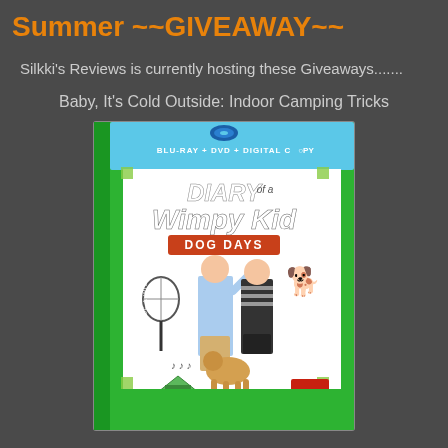Summer ~~GIVEAWAY~~
Silkki's Reviews is currently hosting these Giveaways.......
Baby, It's Cold Outside: Indoor Camping Tricks
[Figure (photo): Diary of a Wimpy Kid: Dog Days Blu-ray + DVD + Digital Copy movie cover. Green case with two boys and a dog, various cartoon doodles including a tennis racket, music notes, and a small cartoon dog.]